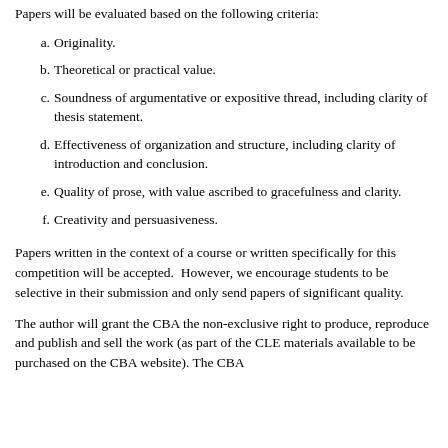Papers will be evaluated based on the following criteria:
a. Originality.
b. Theoretical or practical value.
c. Soundness of argumentative or expositive thread, including clarity of thesis statement.
d. Effectiveness of organization and structure, including clarity of introduction and conclusion.
e. Quality of prose, with value ascribed to gracefulness and clarity.
f. Creativity and persuasiveness.
Papers written in the context of a course or written specifically for this competition will be accepted.  However, we encourage students to be selective in their submission and only send papers of significant quality.
The author will grant the CBA the non-exclusive right to produce, reproduce and publish and sell the work (as part of the CLE materials available to be purchased on the CBA website). The CBA